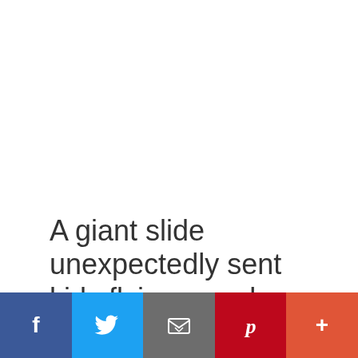A giant slide unexpectedly sent kids flying – and inspired a viral rap
August 25, 2022 by www.chron.com — Leave a Comment
[Figure (other): Social sharing bar with Facebook, Twitter, Email, Pinterest, and More buttons]